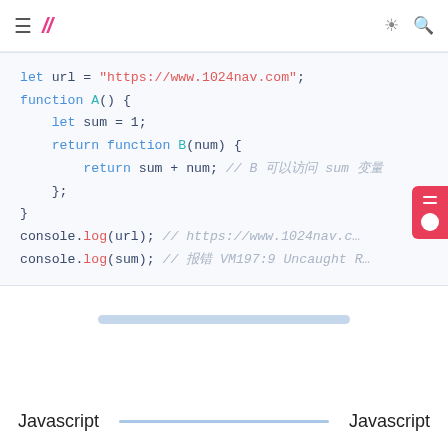≡ // ☀ 🔍
[Figure (screenshot): JavaScript code snippet showing closure example with url variable, function A returning function B, and console.log statements. Code uses syntax highlighting with blue keywords, red string/method names, teal identifiers, and gray italic comments.]
Javascript  Javascript